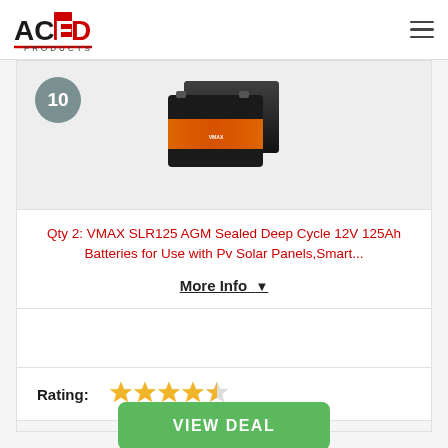[Figure (logo): ACED Products logo — black and red stylized text with 'AC' in black and 'ED' in red, 'PRODUCTS' subtitle, red underline accent]
[Figure (photo): Two VMAX SLR125 AGM deep cycle battery units, dark case with orange label]
Qty 2: VMAX SLR125 AGM Sealed Deep Cycle 12V 125Ah Batteries for Use with Pv Solar Panels,Smart...
More Info ▼
Rating:
[Figure (other): 4 out of 5 stars rating — four filled gold stars and one half/empty star]
VIEW DEAL